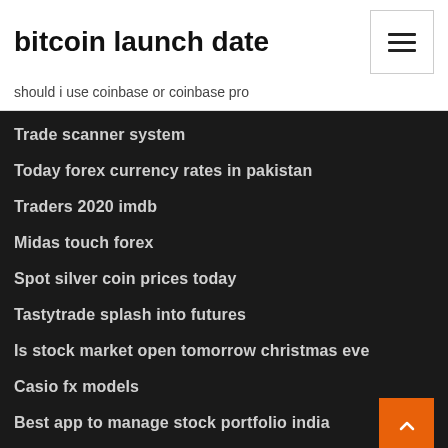bitcoin launch date
should i use coinbase or coinbase pro
Trade scanner system
Today forex currency rates in pakistan
Traders 2020 imdb
Midas touch forex
Spot silver coin prices today
Tastytrade splash into futures
Is stock market open tomorrow christmas eve
Casio fx models
Best app to manage stock portfolio india
Tsx good stocks to buy